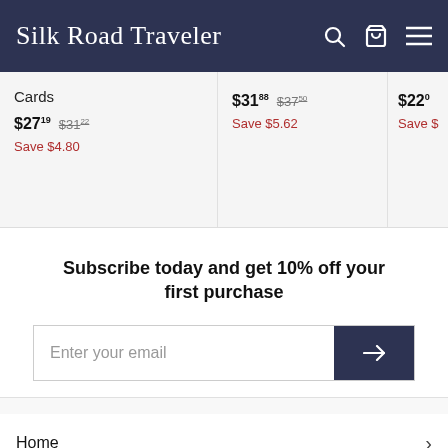Silk Road Traveler
Cards
$27.19  $31.22
Save $4.80
$31.88  $37.50
Save $5.62
$22.0
Save $
Subscribe today and get 10% off your first purchase
Enter your email
Home